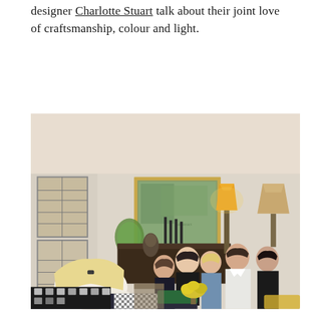designer Charlotte Stuart talk about their joint love of craftsmanship, colour and light.
[Figure (photo): A group of people seated in an elegantly furnished living room. A blonde woman sits with her back to the camera in the foreground. Several others are seated in chairs and sofas, listening attentively. The room features a large gold-framed painting, a green oval mirror, a tall table lamp with warm light, a raffia lampshade, antique wooden furniture, and decorative accessories. A black-and-white patterned fabric and yellow flowers are visible in the lower foreground.]